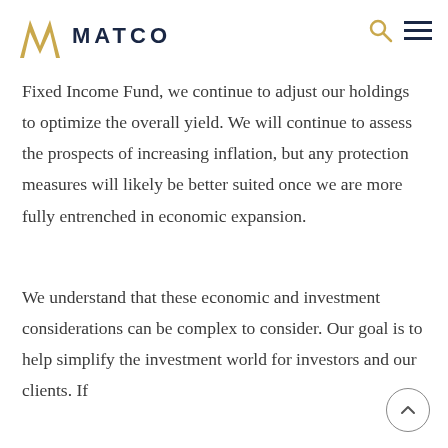MATCO
Fixed Income Fund, we continue to adjust our holdings to optimize the overall yield. We will continue to assess the prospects of increasing inflation, but any protection measures will likely be better suited once we are more fully entrenched in economic expansion.
We understand that these economic and investment considerations can be complex to consider. Our goal is to help simplify the investment world for investors and our clients. If